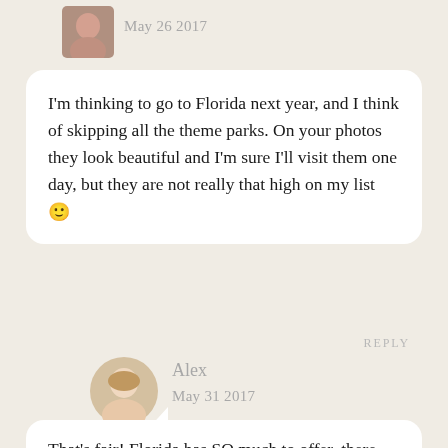[Figure (photo): Small rounded-rectangle avatar photo of a person, top-left area]
May 26 2017
I’m thinking to go to Florida next year, and I think of skipping all the theme parks. On your photos they look beautiful and I’m sure I’ll visit them one day, but they are not really that high on my list 🙂
REPLY
[Figure (photo): Circular avatar photo of a blonde woman named Alex]
Alex
May 31 2017
That’s fair! Florida has SO much to offer, there really is something for everyone here.